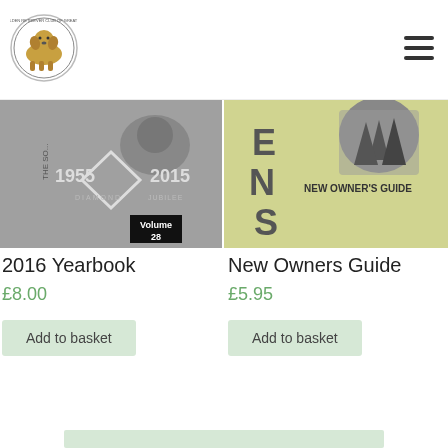[Figure (logo): Circular dog club logo with a golden retriever illustration]
[Figure (photo): 2016 Yearbook cover showing 1955-2015 Diamond Jubilee, Volume 28]
2016 Yearbook
£8.00
Add to basket
[Figure (photo): New Owner's Guide book cover on yellowish-green background]
New Owners Guide
£5.95
Add to basket